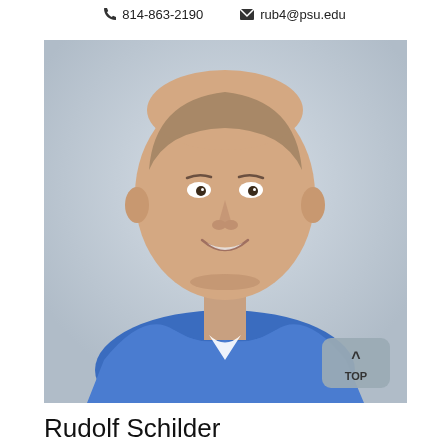📞 814-863-2190  ✉ rub4@psu.edu
[Figure (photo): Headshot photo of Rudolf Schilder, a man with short hair wearing a blue button-up shirt, smiling, against a light blue-grey background. A 'TOP' back-to-top button is visible in the lower-right corner of the photo.]
Rudolf Schilder